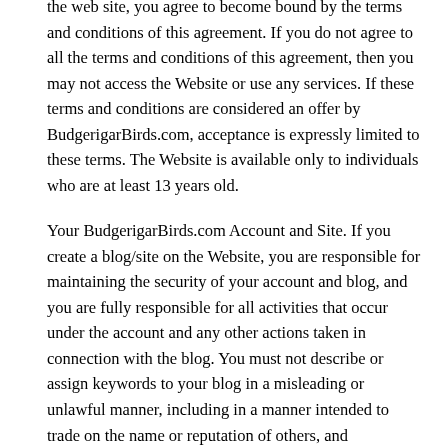the web site, you agree to become bound by the terms and conditions of this agreement. If you do not agree to all the terms and conditions of this agreement, then you may not access the Website or use any services. If these terms and conditions are considered an offer by BudgerigarBirds.com, acceptance is expressly limited to these terms. The Website is available only to individuals who are at least 13 years old.
Your BudgerigarBirds.com Account and Site. If you create a blog/site on the Website, you are responsible for maintaining the security of your account and blog, and you are fully responsible for all activities that occur under the account and any other actions taken in connection with the blog. You must not describe or assign keywords to your blog in a misleading or unlawful manner, including in a manner intended to trade on the name or reputation of others, and BudgerigarBirds.com may change or remove any description or keyword that it considers inappropriate